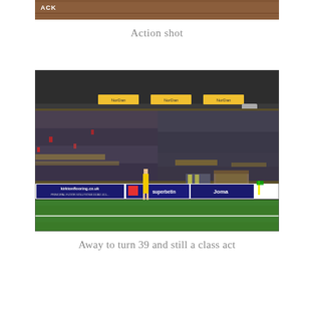[Figure (photo): Partial top crop of a football stadium photo showing wooden/brown background with 'ACK' text visible]
Action shot
[Figure (photo): Football stadium action shot showing a goalkeeper in yellow kit standing on the pitch. Behind him are packed stands of spectators. Advertising hoardings visible including 'kirktonflooring.co.uk', 'superbetin', 'Joma'. NorDan sponsor logos visible on the upper stand fascia. Green and yellow team colours visible in crowd.]
Away to turn 39 and still a class act